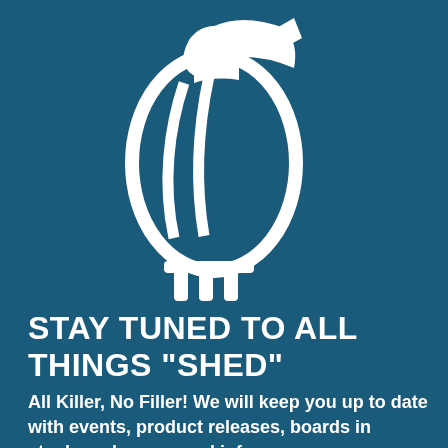[Figure (logo): White owl logo illustration on dark teal background — stylized outline of an owl facing right, with wing feather details and feet visible]
STAY TUNED TO ALL THINGS "SHED"
All Killer, No Filler! We will keep you up to date with events, product releases, boards in stock, and more good info.